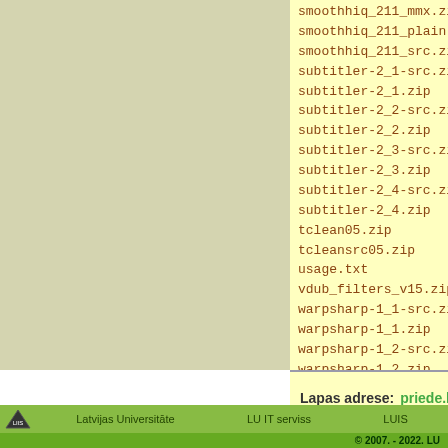smoothhiq_211_mmx.zip 200
smoothhiq_211_plain.zip 200
smoothhiq_211_src.zip 200
subtitler-2_1-src.zip 200
subtitler-2_1.zip 200
subtitler-2_2-src.zip 200
subtitler-2_2.zip 200
subtitler-2_3-src.zip 200
subtitler-2_3.zip 200
subtitler-2_4-src.zip 200
subtitler-2_4.zip 200
tclean05.zip 200
tcleansrc05.zip 200
usage.txt 200
vdub_filters_v15.zip 200
warpsharp-1_1-src.zip 200
warpsharp-1_1.zip 200
warpsharp-1_2-src.zip 200
warpsharp-1_2.zip 200
warpsharp-src.zip 200
warpsharp.zip 200
whitebalance.zip 200
Lapas adrese: priede.bf.lu.lv/ftp/pub/MultiVide
Latvijas Universitāte  LU IT serviss  LUIS  © 2007. - 2022. LU